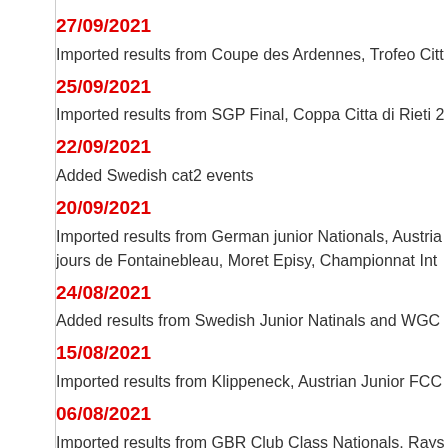27/09/2021
Imported results from Coupe des Ardennes, Trofeo Citt…
25/09/2021
Imported results from SGP Final, Coppa Citta di Rieti 2…
22/09/2021
Added Swedish cat2 events
20/09/2021
Imported results from German junior Nationals, Austria… jours de Fontainebleau, Moret Episy, Championnat Int…
24/08/2021
Added results from Swedish Junior Natinals and WGC…
15/08/2021
Imported results from Klippeneck, Austrian Junior FCC…
06/08/2021
Imported results from GBR Club Class Nationals, Rays… Interregional Grand Ouest - Catégorie Générale Classe… Gauteng Regional Championships 15 m class